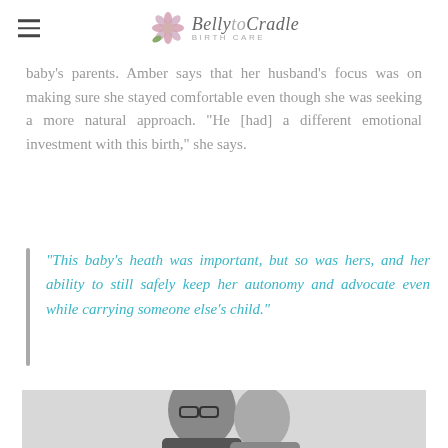Belly to Cradle Birth Care
baby's parents. Amber says that her husband's focus was on making sure she stayed comfortable even though she was seeking a more natural approach. "He [had] a different emotional investment with this birth," she says.
"This baby's heath was important, but so was hers, and her ability to still safely keep her autonomy and advocate even while carrying someone else's child."
[Figure (photo): Black and white photo of two women smiling closely together, one wearing glasses]